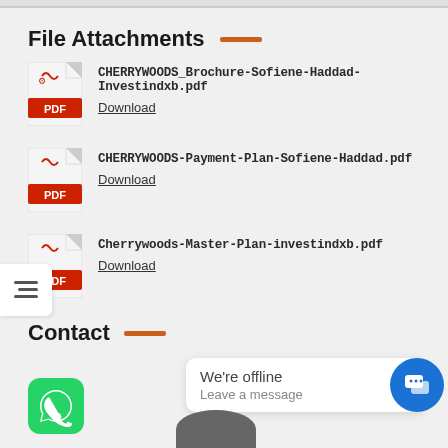File Attachments
CHERRYWOODS_Brochure-Sofiene-Haddad-Investindxb.pdf
Download
CHERRYWOODS-Payment-Plan-Sofiene-Haddad.pdf
Download
Cherrywoods-Master-Plan-investindxb.pdf
Download
Contact
We're offline
Leave a message